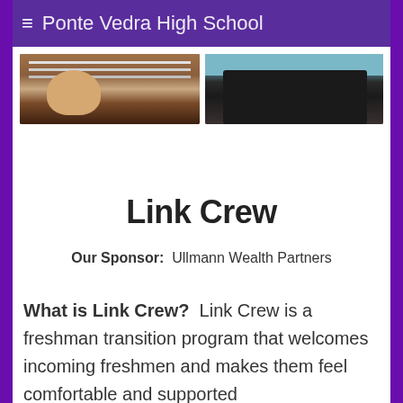≡ Ponte Vedra High School
[Figure (photo): Two side-by-side photos: left photo shows a student peeking over a railing or ledge at a school building; right photo shows a pile of dark objects (possibly athletic equipment or bags) in a gym or school space with a teal/blue wall.]
Link Crew
Our Sponsor:  Ullmann Wealth Partners
What is Link Crew?  Link Crew is a freshman transition program that welcomes incoming freshmen and makes them feel comfortable and supported